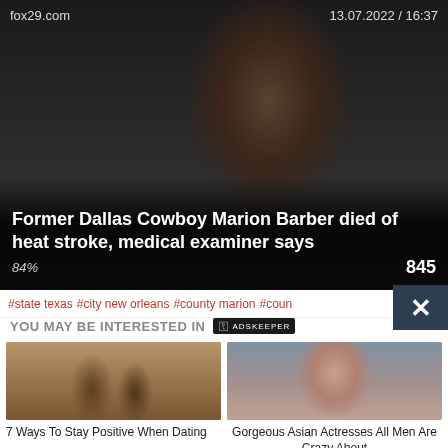fox29.com   13.07.2022 / 16:37
[Figure (photo): Close-up photo of former Dallas Cowboy Marion Barber wearing a dark headband, looking sideways in athletic gear]
Former Dallas Cowboy Marion Barber died of heat stroke, medical examiner says
84%  845
#state texas  #city new orleans  #county marion  #coun
YOU MAY BE INTERESTED IN
[Figure (photo): Photo of a couple in a romantic pose outdoors]
7 Ways To Stay Positive When Dating
[Figure (photo): Portrait photo of a gorgeous Asian woman with long black hair and blue eyes]
Gorgeous Asian Actresses All Men Are Crazy About